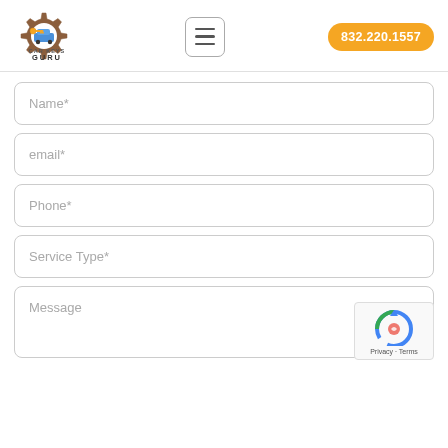[Figure (logo): Car Keys Guru logo: gear/cog shape with car key and car icon inside, brown/orange gear, blue car, text 'CAR KEYS GURU' below]
[Figure (other): Hamburger menu button: square with rounded corners, three horizontal lines]
832.220.1557
Name*
email*
Phone*
Service Type*
Message
[Figure (other): Google reCAPTCHA badge with logo and 'Privacy · Terms' text]